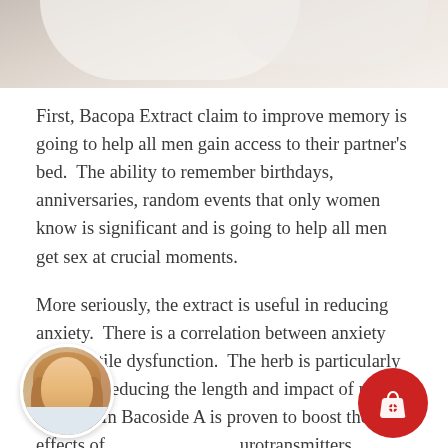[Figure (photo): Cropped photo of white pillows/bedding at the top of the page]
First, Bacopa Extract claim to improve memory is going to help all men gain access to their partner's bed.  The ability to remember birthdays, anniversaries, random events that only women know is significant and is going to help all men get sex at crucial moments.
More seriously, the extract is useful in reducing anxiety.  There is a correlation between anxiety and erectile dysfunction.  The herb is particularly useful in reducing the length and impact of panic attacks.  In... Bacoside A is proven to boost the effects of neurotransmitters, including serotonine.  Medics claim it is useful in the treatment of depression. Therefore, its ability to
[Figure (photo): Circular avatar photo of a young woman with blonde hair, partially covering text at bottom left]
[Figure (other): Red circular shopping bag button with heart icon at bottom right]